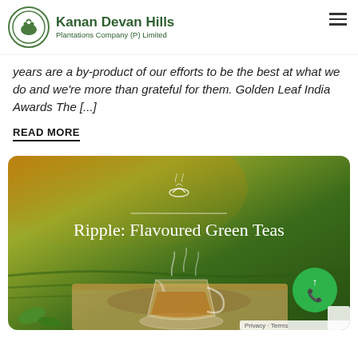Kanan Devan Hills Plantations Company (P) Limited
years are a by-product of our efforts to be the best at what we do and we're more than grateful for them. Golden Leaf India Awards The [...]
READ MORE
[Figure (photo): Promotional image for 'Ripple: Flavoured Green Teas' showing a glass cup of tea with steam rising, placed on a wooden surface with tea leaves, against a blurred tea plantation background with warm golden-green tones. Features a small tea bowl icon and horizontal divider line above the title text.]